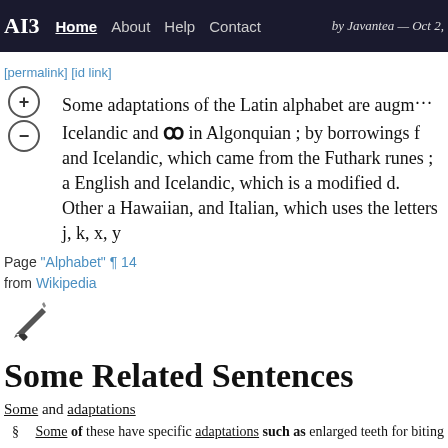AI3  Home  About  Help  Contact  by Javantea — Oct 2,
[permalink] [id link]
Some adaptations of the Latin alphabet are augm... Icelandic and 8 in Algonquian ; by borrowings f... and Icelandic, which came from the Futhark runes ; a... English and Icelandic, which is a modified d. Other a... Hawaiian, and Italian, which uses the letters j, k, x, y
Page "Alphabet" ¶ 14
from Wikipedia
Some Related Sentences
Some and adaptations
§  Some of these have specific adaptations such as enlarged teeth for biting o...
§  Some 20th-century ethnologists, like Julian Steward, have instead argued th... evolution ).
§  Some evolutionary psychologists apply the same thinking to psychology...